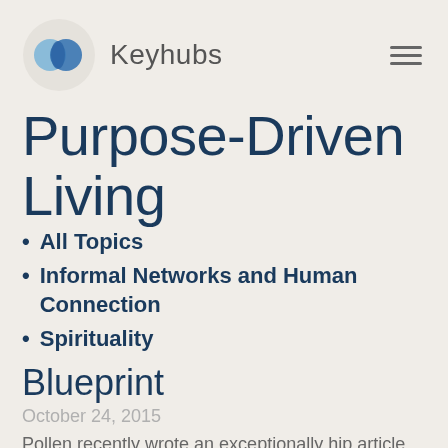[Figure (logo): Keyhubs logo: two overlapping blue circles inside a light gray circular background, with the text 'Keyhubs' to the right]
Purpose-Driven Living
All Topics
Informal Networks and Human Connection
Spirituality
Blueprint
October 24, 2015
Pollen recently wrote an exceptionally hip article about Keyhubs. Unlike many business publications, Pollen is an incredibly cool, artistic and creative